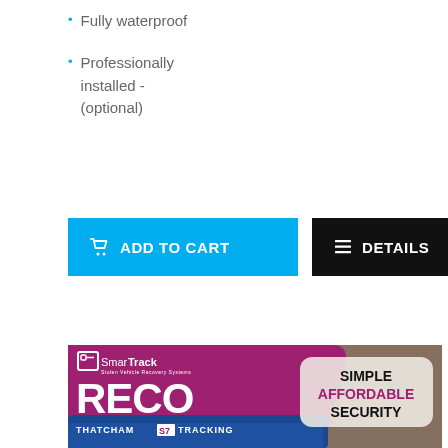Fully waterproof
Professionally installed - (optional)
ADD TO CART   DETAILS
[Figure (illustration): SmarTrack RECO Thatcham S7 Tracking banner advertisement showing logo, product name RECO, 'Thatcham S7 Tracking' tagline, and 'Simple Affordable Security' callout over a pink/magenta and photo background with a blue car.]